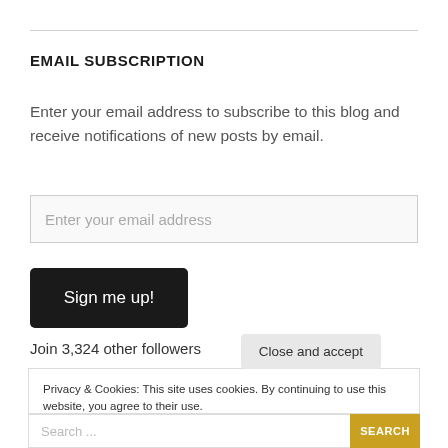EMAIL SUBSCRIPTION
Enter your email address to subscribe to this blog and receive notifications of new posts by email.
Enter your email address
Sign me up!
Join 3,324 other followers
Privacy & Cookies: This site uses cookies. By continuing to use this website, you agree to their use.
To find out more, including how to control cookies, see here: Cookie Policy
Close and accept
Search...
SEARCH